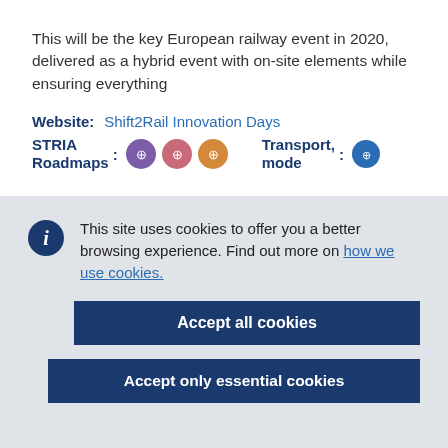This will be the key European railway event in 2020, delivered as a hybrid event with on-site elements while ensuring everything
Website:   Shift2Rail Innovation Days
STRIA Roadmaps: [icons]   Transport mode: [icon]
This site uses cookies to offer you a better browsing experience. Find out more on how we use cookies.
Accept all cookies
Accept only essential cookies